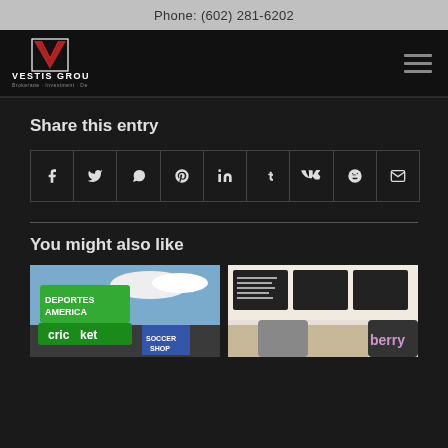Phone: (602) 281-6202
[Figure (logo): Vestis Group logo with red V symbol and text 'Vestis Group Brokerage · Investment · Development']
Share this entry
[Figure (infographic): Social share icons row: Facebook, Twitter, WhatsApp, Pinterest, LinkedIn, Tumblr, VK, Reddit, Email]
You might also like
[Figure (photo): Storefront photo showing Deportes America, Cricket, Soccer Shop signs]
[Figure (photo): Interior of a food/cafe shop with menu boards and berry signage]